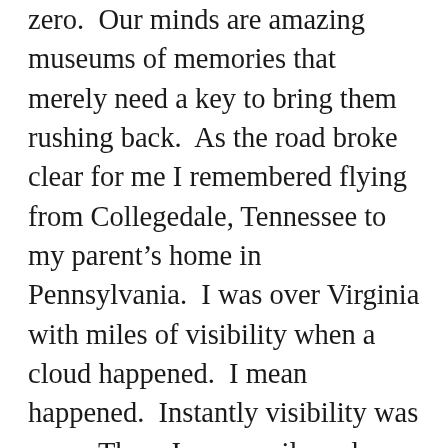zero.  Our minds are amazing museums of memories that merely need a key to bring them rushing back.  As the road broke clear for me I remembered flying from Collegedale, Tennessee to my parent's home in Pennsylvania.  I was over Virginia with miles of visibility when a cloud happened.  I mean happened.  Instantly visibility was zero.  There I was a mile and a half above the Blue Ridge Mountains hurtling along at 150 miles an hour and I could see nothing.  As fast as I could I